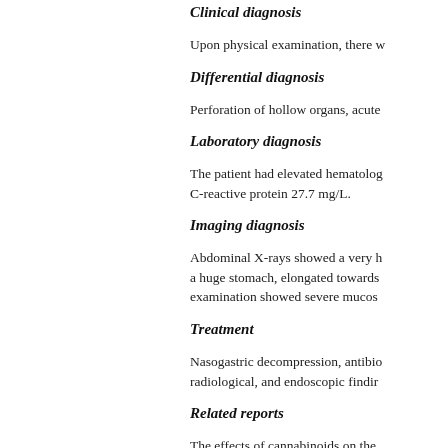Clinical diagnosis
Upon physical examination, there w
Differential diagnosis
Perforation of hollow organs, acute
Laboratory diagnosis
The patient had elevated hematolog C-reactive protein 27.7 mg/L.
Imaging diagnosis
Abdominal X-rays showed a very h a huge stomach, elongated towards examination showed severe mucos
Treatment
Nasogastric decompression, antibio radiological, and endoscopic findir
Related reports
The effects of cannabinoids on the